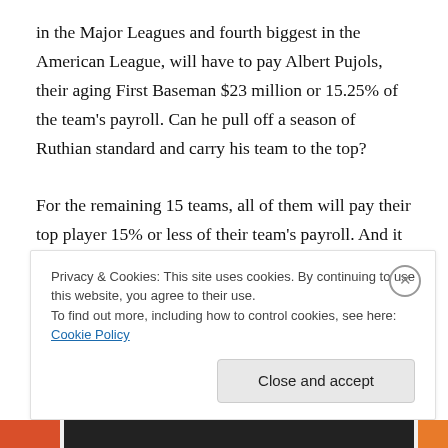in the Major Leagues and fourth biggest in the American League, will have to pay Albert Pujols, their aging First Baseman $23 million or 15.25% of the team's payroll. Can he pull off a season of Ruthian standard and carry his team to the top?

For the remaining 15 teams, all of them will pay their top player 15% or less of their team's payroll. And it appears as though this is where the World Champion will come from. The top salary in baseball this season will be $26 million and will be paid to Zach Greinke of the  Dodgers
Privacy & Cookies: This site uses cookies. By continuing to use this website, you agree to their use.
To find out more, including how to control cookies, see here: Cookie Policy
Close and accept